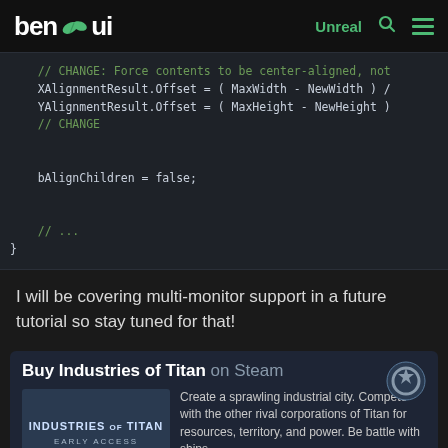ben 🌿 ui   Unreal  🔍  ☰
[Figure (screenshot): Code block showing C++ code with comments about forcing center-aligned content, XAlignmentResult.Offset and YAlignmentResult.Offset assignments, and bAlignChildren = false;]
I will be covering multi-monitor support in a future tutorial so stay tuned for that!
[Figure (infographic): Buy Industries of Titan on Steam advertisement banner with game image and description: Create a sprawling industrial city. Compete with the other rival corporations of Titan for resources, territory, and power. Be battle with ships...]